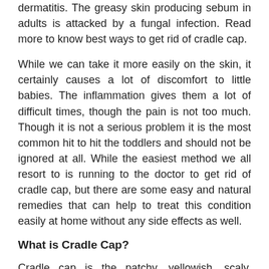dermatitis. The greasy skin producing sebum in adults is attacked by a fungal infection. Read more to know best ways to get rid of cradle cap.
While we can take it more easily on the skin, it certainly causes a lot of discomfort to little babies. The inflammation gives them a lot of difficult times, though the pain is not too much. Though it is not a serious problem it is the most common hit to hit the toddlers and should not be ignored at all. While the easiest method we all resort to is running to the doctor to get rid of cradle cap, but there are some easy and natural remedies that can help to treat this condition easily at home without any side effects as well.
What is Cradle Cap?
Cradle cap is the patchy, yellowish, scaly, greasy and crusty appearance on the scalp of newborn babies. It is important to know here that it is neither contagious nor itchy. It is mostly characterized by dandruff-like itchy flakes on the scalp of newborn babies. This is most